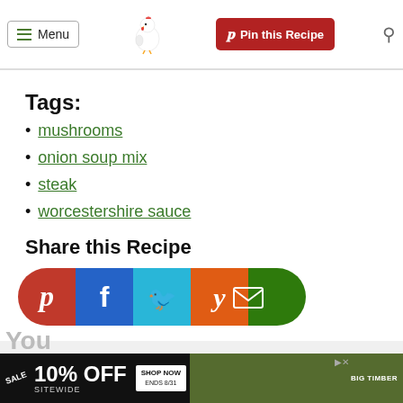Menu | Pin this Recipe | Search
Tags:
mushrooms
onion soup mix
steak
worcestershire sauce
Share this Recipe
[Figure (infographic): Social share button bar with Pinterest (red), Facebook (blue), Twitter (light blue), Yummly (orange), Email (green) buttons]
You
[Figure (infographic): Advertisement banner: SALE 10% OFF SITEWIDE, SHOP NOW ENDS 8/31, BIG TIMBER with gazebo image]